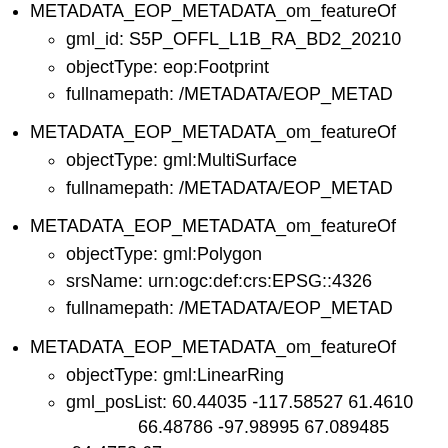METADATA_EOP_METADATA_om_featureOf...
  gml_id: S5P_OFFL_L1B_RA_BD2_20210...
  objectType: eop:Footprint
  fullnamepath: /METADATA/EOP_METAD...
METADATA_EOP_METADATA_om_featureOf...
  objectType: gml:MultiSurface
  fullnamepath: /METADATA/EOP_METAD...
METADATA_EOP_METADATA_om_featureOf...
  objectType: gml:Polygon
  srsName: urn:ogc:def:crs:EPSG::4326
  fullnamepath: /METADATA/EOP_METAD...
METADATA_EOP_METADATA_om_featureOf...
  objectType: gml:LinearRing
  gml_posList: 60.44035 -117.58527 61.4610... 66.48786 -97.98995 67.089485 -94.4753 67... 68.49026 -62.359802 68.2047 -58.340855 6... 63.790627 -34.497692 62.88678 -31.80281... 55.38947 -17.167274 54.19598 -15.566518... 45.32405 -6.6598654 44.001007 -5.6447722... 34.489204 0.24638435 33.102295 0.948540... 23.260561 5.1711335 21.839428 5.692506... 8.908314 10.376497 9.314796 8.93464 9.70... -1.1933335 13.192514 -2.6436687 13.511...